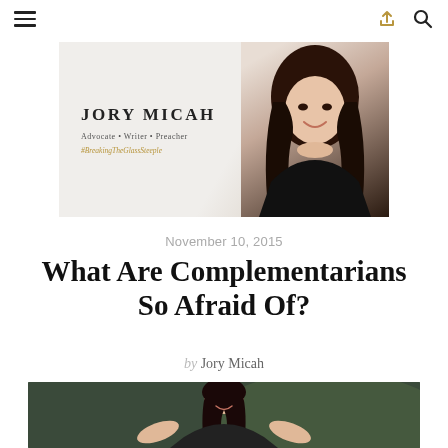≡  [share icon]  [search icon]
[Figure (photo): Jory Micah blog banner with text 'JORY MICAH Advocate • Writer • Preacher #BreakingTheGlassSteeple' and a photo of a woman with dark hair smiling, wearing a black top]
November 10, 2015
What Are Complementarians So Afraid Of?
by Jory Micah
[Figure (photo): Photo of a woman with long dark hair smiling and gesturing with hands, appears to be speaking or presenting, dark/green background]